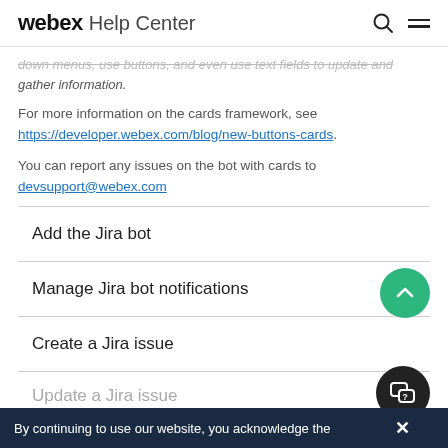webex Help Center
down menus, use buttons, and even use text fields to update and gather information.
For more information on the cards framework, see https://developer.webex.com/blog/new-buttons-cards.
You can report any issues on the bot with cards to devsupport@webex.com
Add the Jira bot
Manage Jira bot notifications
Create a Jira issue
Update a Jira issue
By continuing to use our website, you acknowledge the